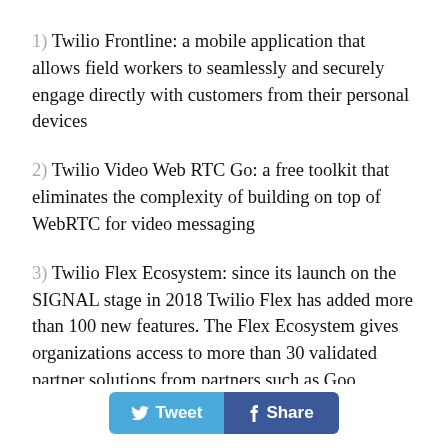1) Twilio Frontline: a mobile application that allows field workers to seamlessly and securely engage directly with customers from their personal devices
2) Twilio Video Web RTC Go: a free toolkit that eliminates the complexity of building on top of WebRTC for video messaging
3) Twilio Flex Ecosystem: since its launch on the SIGNAL stage in 2018 Twilio Flex has added more than 100 new features. The Flex Ecosystem gives organizations access to more than 30 validated partner solutions from partners such as Google, Salesforce...